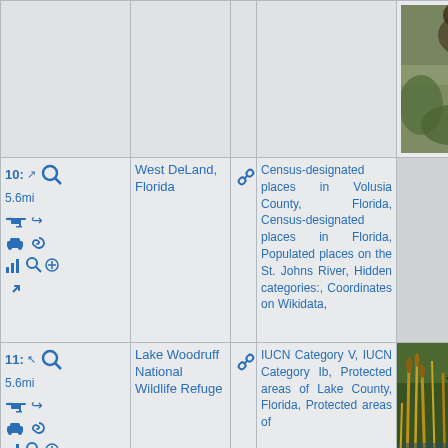| Actions | Name | Link | Categories | Image |
| --- | --- | --- | --- | --- |
| 10: 5.6mi [icons] | West DeLand, Florida | [link] | Census-designated places in Volusia County, Florida, Census-designated places in Florida, Populated places on the St. Johns River, Hidden categories:, Coordinates on Wikidata, | [photo] |
| 11: 5.6mi [icons] | Lake Woodruff National Wildlife Refuge | [link] | IUCN Category V, IUCN Category Ib, Protected areas of Lake County, Florida, Protected areas of ... | [photo heron] |